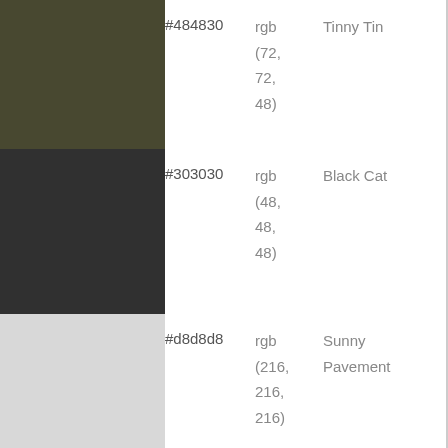[Figure (infographic): Color swatch #484830 (dark olive/army green)]
| Hex | RGB | Name |
| --- | --- | --- |
| #484830 | rgb (72, 72, 48) | Tinny Tin |
| #303030 | rgb (48, 48, 48) | Black Cat |
| #d8d8d8 | rgb (216, 216, 216) | Sunny Pavement |